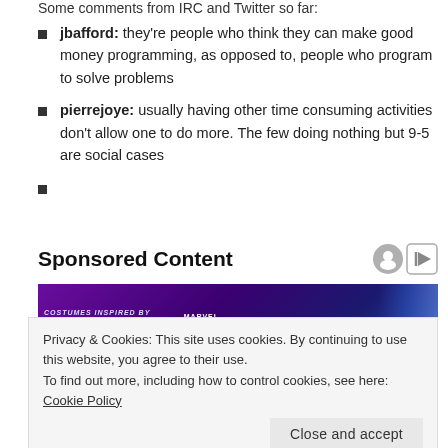Some comments from IRC and Twitter so far:
jbafford: they're people who think they can make good money programming, as opposed to, people who program to solve problems
pierrejoye: usually having other time consuming activities don't allow one to do more. The few doing nothing but 9-5 are social cases
Sponsored Content
[Figure (photo): Marvel Strike Force promotional banner with Thor: Love and Thunder branding]
Privacy & Cookies: This site uses cookies. By continuing to use this website, you agree to their use.
To find out more, including how to control cookies, see here: Cookie Policy
Close and accept